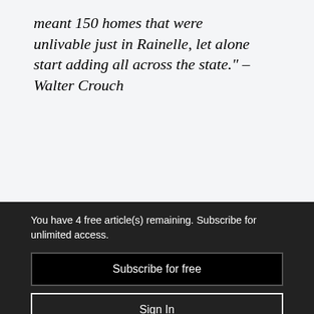meant 150 homes that were unlivable just in Rainelle, let alone start adding all across the state." – Walter Crouch
Walter Crouch's organization was already embedded in the town of Rainelle when the
You have 4 free article(s) remaining. Subscribe for unlimited access.
Subscribe for free
Sign In